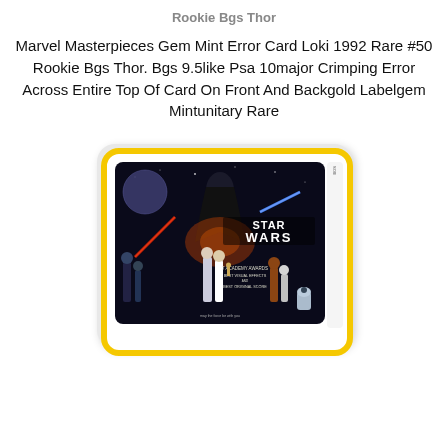Rookie Bgs Thor
Marvel Masterpieces Gem Mint Error Card Loki 1992 Rare #50 Rookie Bgs Thor. Bgs 9.5like Psa 10major Crimping Error Across Entire Top Of Card On Front And Backgold Labelgem Mintunitary Rare
[Figure (photo): A trading card encased in a graded card holder with a yellow/gold border. The card shows the Star Wars movie poster artwork featuring characters, Darth Vader, and the Star Wars logo, with text about 7 Academy Awards including Best Visual Effects and Best Original Score.]